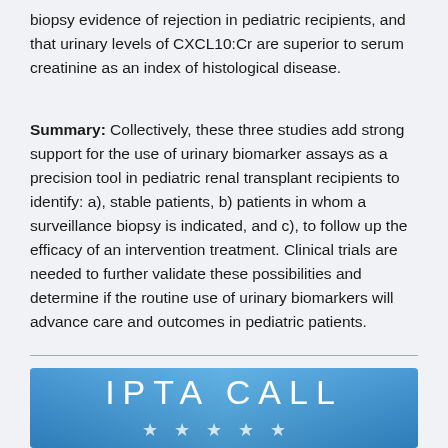biopsy evidence of rejection in pediatric recipients, and that urinary levels of CXCL10:Cr are superior to serum creatinine as an index of histological disease.
Summary: Collectively, these three studies add strong support for the use of urinary biomarker assays as a precision tool in pediatric renal transplant recipients to identify: a), stable patients, b) patients in whom a surveillance biopsy is indicated, and c), to follow up the efficacy of an intervention treatment. Clinical trials are needed to further validate these possibilities and determine if the routine use of urinary biomarkers will advance care and outcomes in pediatric patients.
[Figure (illustration): Blue gradient banner with text 'IPTA CALL' in large white letters and five white star icons below]